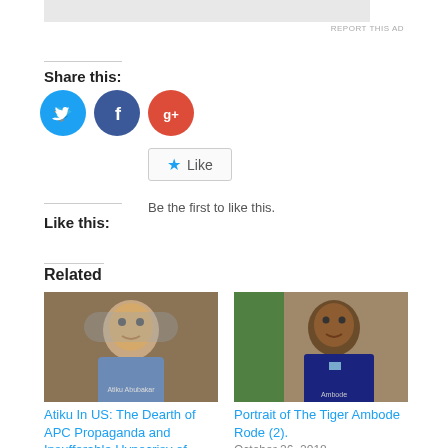REPORT THIS AD
Share this:
[Figure (illustration): Social share icons: Twitter (blue circle), Facebook (dark blue circle), Google+ (red circle)]
★ Like
Be the first to like this.
Like this:
Related
[Figure (photo): Photo of Atiku Abubakar gesturing, wearing traditional Nigerian attire]
Atiku In US: The Dearth of APC Propaganda and Insufferable Hypocrisy of
[Figure (photo): Portrait photo of Ambode smiling, with a flag in the background]
Portrait of The Tiger Ambode Rode (2).
October 26, 2018